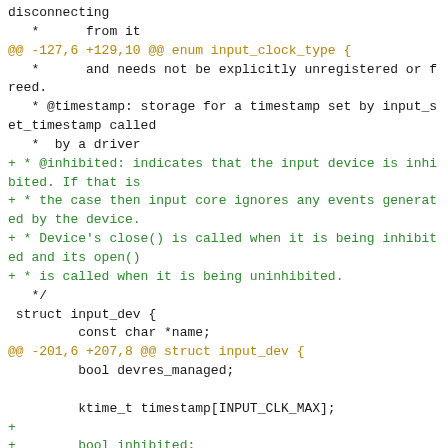disconnecting
   *      from it
@@ -127,6 +129,10 @@ enum input_clock_type {
   *      and needs not be explicitly unregistered or freed.
   * @timestamp: storage for a timestamp set by input_set_timestamp called
   *  by a driver
+ * @inhibited: indicates that the input device is inhibited. If that is
+ * the case then input core ignores any events generated by the device.
+ * Device's close() is called when it is being inhibited and its open()
+ * is called when it is being uninhibited.
   */
 struct input_dev {
         const char *name;
@@ -201,6 +207,8 @@ struct input_dev {
         bool devres_managed;

         ktime_t timestamp[INPUT_CLK_MAX];
+
+        bool inhibited;
 };
 #define to_input_dev(d) container_of(d, struct input_dev, dev)

--
2.17.1